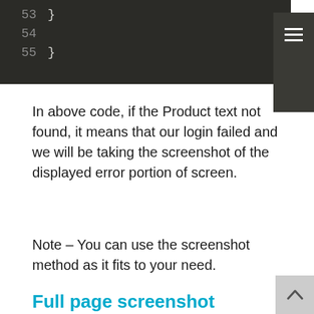[Figure (screenshot): Dark-themed code editor showing line numbers 53, 54, 55 with closing braces. A hamburger menu icon is visible in the top-right corner.]
In above code, if the Product text not found, it means that our login failed and we will be taking the screenshot of the displayed error portion of screen.
Note – You can use the screenshot method as it fits to your need.
Full page screenshot
With Selenium 4, FirefoxDriver includes a new method getFullPageScreenshotAs() to take full page screenshot